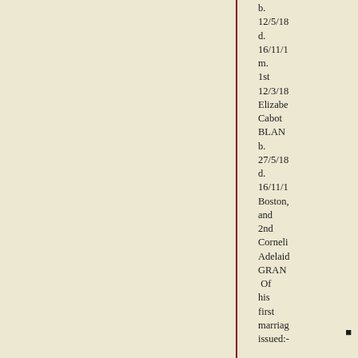b. 12/5/18 d. 16/11/1 m. 1st 12/3/18 Elizabeth Cabot BLANC b. 27/5/18 d. 16/11/1 Boston, and 2nd Corneli Adelaide GRAN Of his first marriage issued:- •